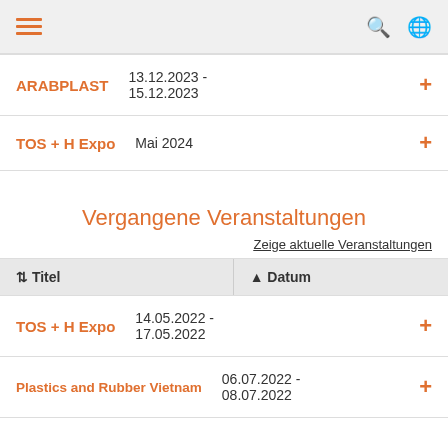Navigation header with hamburger menu, search icon, globe icon
ARABPLAST | 13.12.2023 - 15.12.2023
TOS + H Expo | Mai 2024
Vergangene Veranstaltungen
Zeige aktuelle Veranstaltungen
| Titel | Datum |
| --- | --- |
| TOS + H Expo | 14.05.2022 - 17.05.2022 |
| Plastics and Rubber Vietnam | 06.07.2022 - 08.07.2022 |